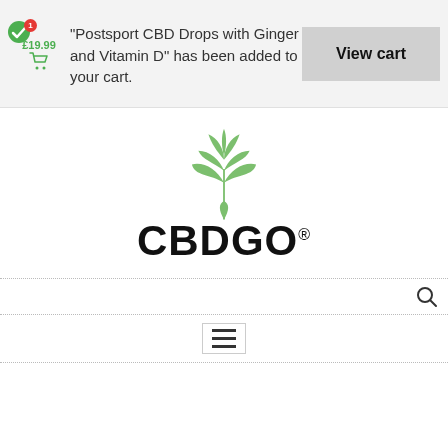"Postsport CBD Drops with Ginger and Vitamin D" has been added to your cart.
View cart
[Figure (logo): CBDGO logo with green hemp leaf/drop illustration above the text CBDGO with registered trademark symbol]
[Figure (screenshot): Search icon (magnifying glass) on dotted line search bar]
[Figure (screenshot): Hamburger menu icon (three horizontal lines) between two dotted horizontal rules]